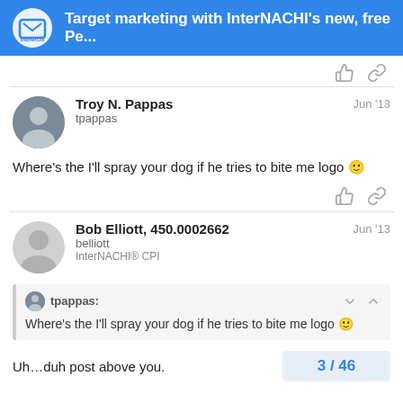Target marketing with InterNACHI's new, free Pe...
Troy N. Pappas
tpappas
Jun '13
Where's the I'll spray your dog if he tries to bite me logo 🙂
Bob Elliott, 450.0002662
belliott
InterNACHI® CPI
Jun '13
tpappas:
Where's the I'll spray your dog if he tries to bite me logo 🙂
Uh…duh post above you.
3 / 46